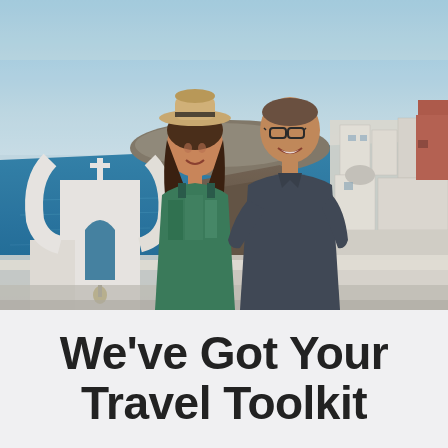[Figure (photo): A couple posing in Santorini, Greece. A woman in a straw hat and colorful dress stands in front of a man in a dark polo shirt. Behind them are the iconic white-washed buildings, blue sea, caldera, and a white church arch with a bell. Sunny sky.]
We've Got Your Travel Toolkit